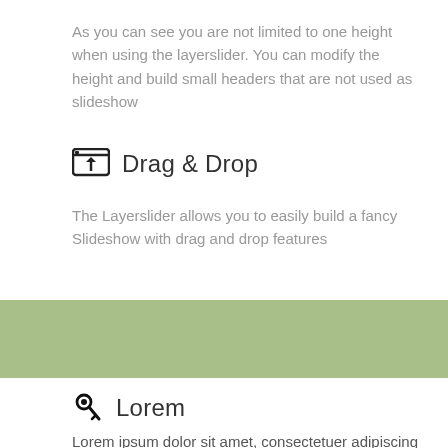As you can see you are not limited to one height when using the layerslider. You can modify the height and build small headers that are not used as slideshow
Drag & Drop
The Layerslider allows you to easily build a fancy Slideshow with drag and drop features
[Figure (other): Sage green horizontal band/divider]
Lorem
Lorem ipsum dolor sit amet, consectetuer adipiscing elit. Aenean commodo ligula eget dolor. Aenean massa. Cum